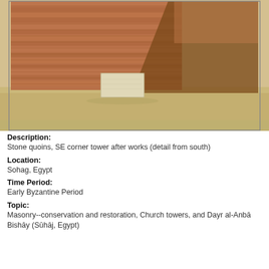[Figure (photo): Photograph of stone quoins at the SE corner tower of a historic structure, showing detail from south. The image shows a reddish-brown brick/stone wall corner with rough-hewn blocks, a lighter stone block placed at the base, and a sandy ground area in the foreground with a shadowed area to the right.]
Description:
Stone quoins, SE corner tower after works (detail from south)
Location:
Sohag, Egypt
Time Period:
Early Byzantine Period
Topic:
Masonry--conservation and restoration, Church towers, and Dayr al-Anbā Bishāy (Sūhāj, Egypt)